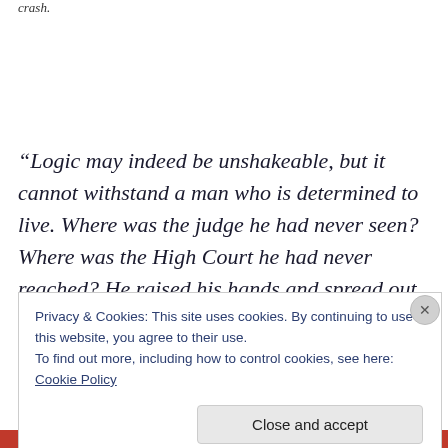crash.
“Logic may indeed be unshakeable, but it cannot withstand a man who is determined to live. Where was the judge he had never seen? Where was the High Court he had never reached? He raised his hands and spread out all his fingers. But the hands of one of the men closed
Privacy & Cookies: This site uses cookies. By continuing to use this website, you agree to their use.
To find out more, including how to control cookies, see here: Cookie Policy
Close and accept